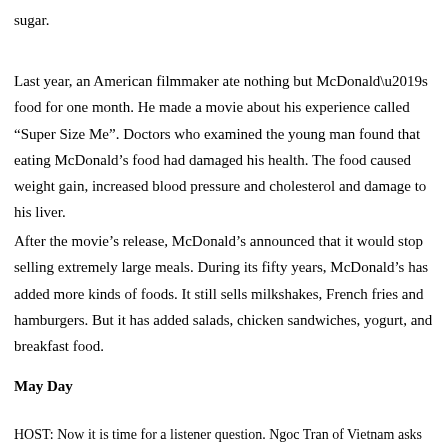sugar.
Last year, an American filmmaker ate nothing but McDonald’s food for one month. He made a movie about his experience called “Super Size Me”. Doctors who examined the young man found that eating McDonald’s food had damaged his health. The food caused weight gain, increased blood pressure and cholesterol and damage to his liver.
After the movie’s release, McDonald’s announced that it would stop selling extremely large meals. During its fifty years, McDonald’s has added more kinds of foods. It still sells milkshakes, French fries and hamburgers. But it has added salads, chicken sandwiches, yogurt, and breakfast food.
May Day
HOST: Now it is time for a listener question. Ngoc Tran of Vietnam asks about